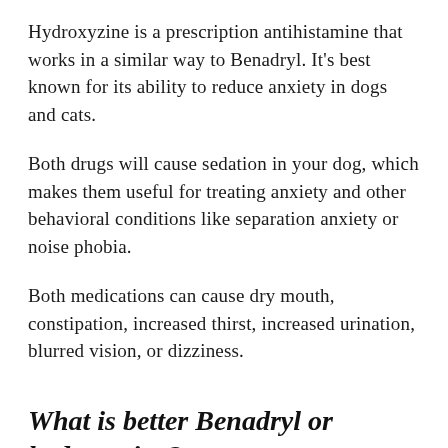Hydroxyzine is a prescription antihistamine that works in a similar way to Benadryl. It's best known for its ability to reduce anxiety in dogs and cats.
Both drugs will cause sedation in your dog, which makes them useful for treating anxiety and other behavioral conditions like separation anxiety or noise phobia.
Both medications can cause dry mouth, constipation, increased thirst, increased urination, blurred vision, or dizziness.
What is better Benadryl or hydroxyzine?